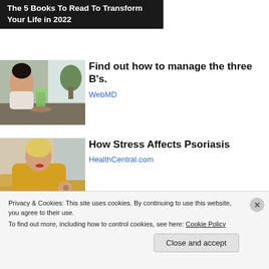The 5 Books To Read To Transform Your Life in 2022
[Figure (photo): Woman sitting at a table, holding a phone, with a green smoothie drink in front of her]
Find out how to manage the three B's.
WebMD
[Figure (photo): Blonde woman in a yellow sweater looking at her arm/wrist, possibly examining a skin condition]
How Stress Affects Psoriasis
HealthCentral.com
Privacy & Cookies: This site uses cookies. By continuing to use this website, you agree to their use.
To find out more, including how to control cookies, see here: Cookie Policy
Close and accept